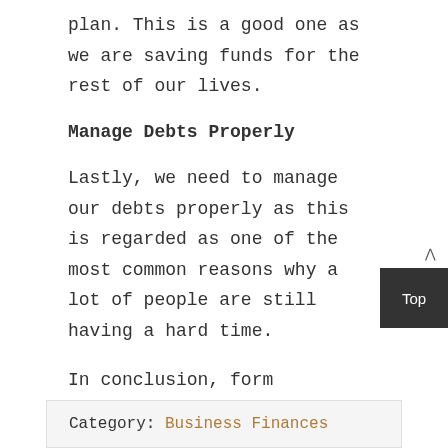plan. This is a good one as we are saving funds for the rest of our lives.
Manage Debts Properly
Lastly, we need to manage our debts properly as this is regarded as one of the most common reasons why a lot of people are still having a hard time.
In conclusion, form strategies to manage your finances, and you can not go far wrong.
Category: Business Finances